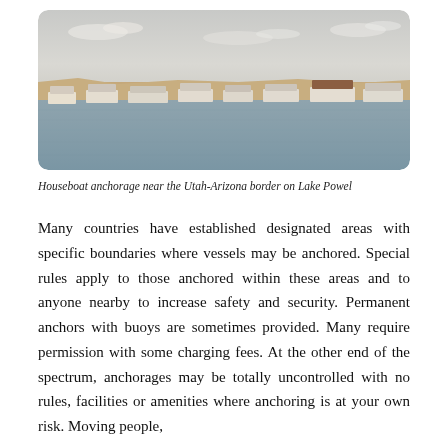[Figure (photo): Houseboat anchorage near the Utah-Arizona border on Lake Powell. Shows multiple houseboats moored along a shoreline with tan/brown cliffs in the background and blue-grey water in the foreground.]
Houseboat anchorage near the Utah-Arizona border on Lake Powel
Many countries have established designated areas with specific boundaries where vessels may be anchored. Special rules apply to those anchored within these areas and to anyone nearby to increase safety and security. Permanent anchors with buoys are sometimes provided. Many require permission with some charging fees. At the other end of the spectrum, anchorages may be totally uncontrolled with no rules, facilities or amenities where anchoring is at your own risk. Moving people,